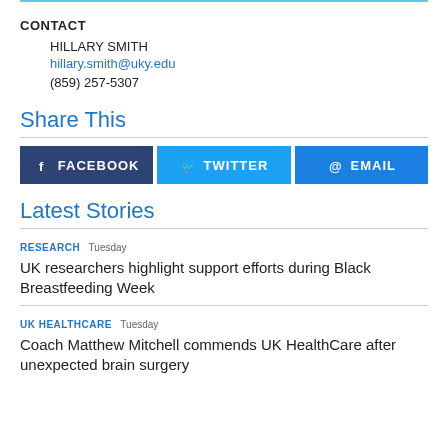CONTACT
HILLARY SMITH
hillary.smith@uky.edu
(859) 257-5307
Share This
[Figure (other): Social share buttons: Facebook, Twitter, Email]
Latest Stories
RESEARCH Tuesday
UK researchers highlight support efforts during Black Breastfeeding Week
UK HEALTHCARE Tuesday
Coach Matthew Mitchell commends UK HealthCare after unexpected brain surgery